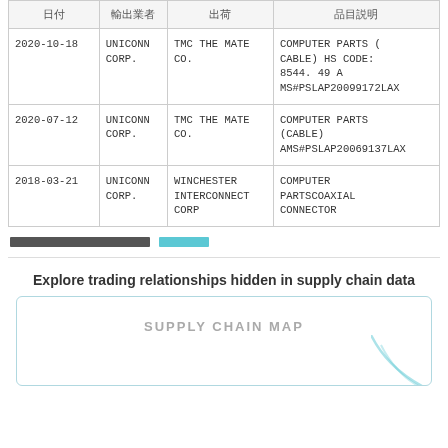| 日付 | 輸出業者 | 出荷 | 品目説明 |
| --- | --- | --- | --- |
| 2020-10-18 | UNICONN CORP. | TMC THE MATE CO. | COMPUTER PARTS ( CABLE) HS CODE: 8544. 49 A MS#PSLAP20099172LAX |
| 2020-07-12 | UNICONN CORP. | TMC THE MATE CO. | COMPUTER PARTS (CABLE) AMS#PSLAP20069137LAX |
| 2018-03-21 | UNICONN CORP. | WINCHESTER INTERCONNECT CORP | COMPUTER PARTSCOAXIAL CONNECTOR |
この企業の全ての輸入履歴を見るには 詳細はこちら
Explore trading relationships hidden in supply chain data
[Figure (infographic): Supply Chain Map placeholder box with arc decoration in bottom right]